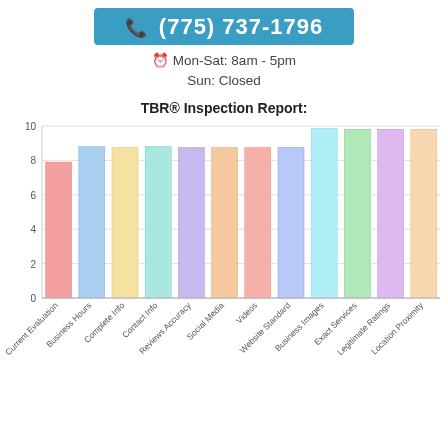(775) 737-1796
Mon-Sat: 8am - 5pm
Sun: Closed
TBR® Inspection Report:
[Figure (bar-chart): TBR® Inspection Report:]